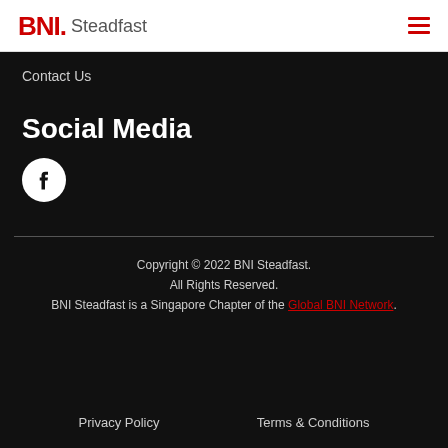BNI Steadfast
Contact Us
Social Media
[Figure (logo): Facebook logo icon — white Facebook 'f' on a black circle]
Copyright © 2022 BNI Steadfast. All Rights Reserved. BNI Steadfast is a Singapore Chapter of the Global BNI Network.
Privacy Policy    Terms & Conditions